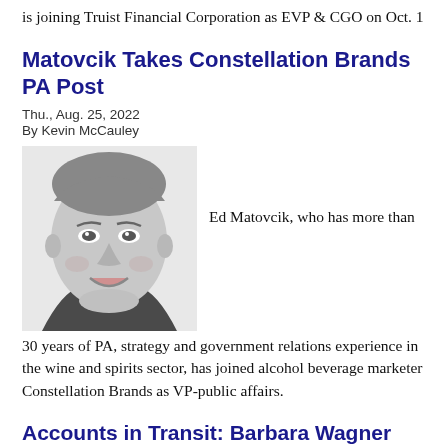is joining Truist Financial Corporation as EVP & CGO on Oct. 1
Matovcik Takes Constellation Brands PA Post
Thu., Aug. 25, 2022
By Kevin McCauley
[Figure (photo): Black and white headshot photo of Ed Matovcik, a middle-aged man smiling]
Ed Matovcik, who has more than 30 years of PA, strategy and government relations experience in the wine and spirits sector, has joined alcohol beverage marketer Constellation Brands as VP-public affairs.
Accounts in Transit: Barbara Wagner Signs Berkshire Hathaway NY